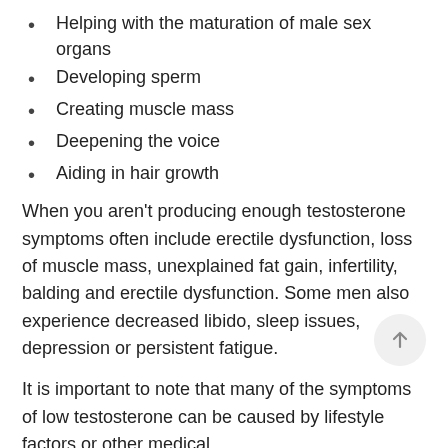Helping with the maturation of male sex organs
Developing sperm
Creating muscle mass
Deepening the voice
Aiding in hair growth
When you aren't producing enough testosterone symptoms often include erectile dysfunction, loss of muscle mass, unexplained fat gain, infertility, balding and erectile dysfunction. Some men also experience decreased libido, sleep issues, depression or persistent fatigue.
It is important to note that many of the symptoms of low testosterone can be caused by lifestyle factors or other medical